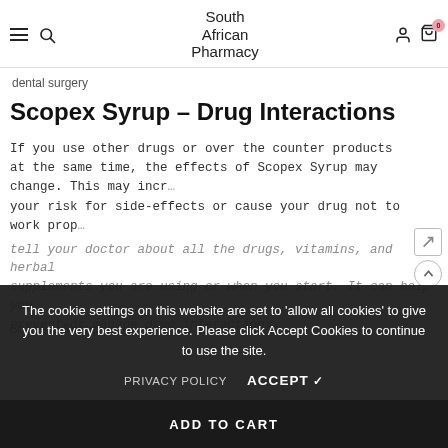South African Pharmacy
dental surgery
Scopex Syrup – Drug Interactions
If you use other drugs or over the counter products at the same time, the effects of Scopex Syrup may change. This may increase your risk for side-effects or cause your drug not to work properly. Tell your doctor about all the drugs, vitamins, and herbal supplements you are using or when you start it can help your prevent or manage drug interactions.
Scopex Syrup may interact with the following drugs and products:
The cookie settings on this website are set to 'allow all cookies' to give you the very best experience. Please click Accept Cookies to continue to use the site.
PRIVACY POLICY   ACCEPT ✔
ADD TO CART